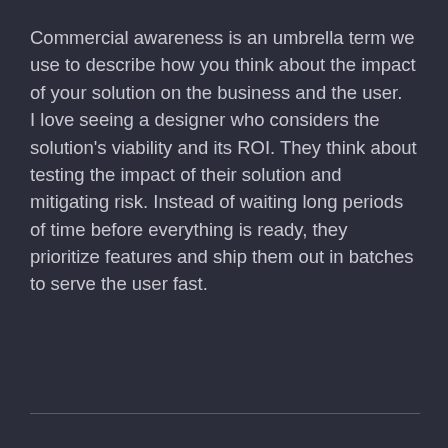Commercial awareness is an umbrella term we use to describe how you think about the impact of your solution on the business and the user. I love seeing a designer who considers the solution's viability and its ROI. They think about testing the impact of their solution and mitigating risk. Instead of waiting long periods of time before everything is ready, they prioritize features and ship them out in batches to serve the user fast.